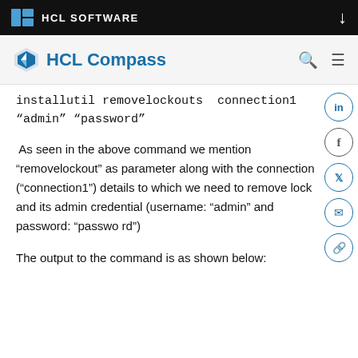HCL SOFTWARE
HCL Compass
installutil removelockouts  connection1 "admin" "password"
As seen in the above command we mention “removelockout” as parameter along with the connection (“connection1”) details to which we need to remove lock and its admin credential (username: “admin” and password: “password”)
The output to the command is as shown below: